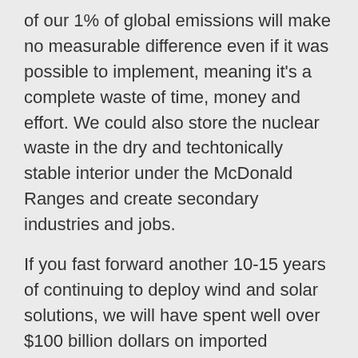of our 1% of global emissions will make no measurable difference even if it was possible to implement, meaning it's a complete waste of time, money and effort. We could also store the nuclear waste in the dry and techtonically stable interior under the McDonald Ranges and create secondary industries and jobs.
If you fast forward another 10-15 years of continuing to deploy wind and solar solutions, we will have spent well over $100 billion dollars on imported technology that doesn't work and will then need to start replacing the entire solution from scratch, due to the short lifecycle, meaning another $100+ billion in today's money. And then